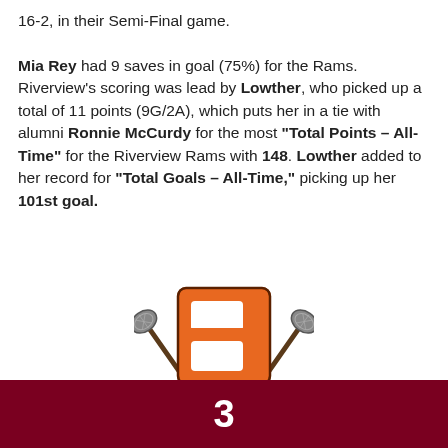16-2, in their Semi-Final game. Mia Rey had 9 saves in goal (75%) for the Rams. Riverview's scoring was lead by Lowther, who picked up a total of 11 points (9G/2A), which puts her in a tie with alumni Ronnie McCurdy for the most "Total Points – All-Time" for the Riverview Rams with 148. Lowther added to her record for "Total Goals – All-Time," picking up her 101st goal.
[Figure (logo): Riverview Rams lacrosse logo: an orange block letter S with two crossed lacrosse sticks behind it, on a white background.]
3